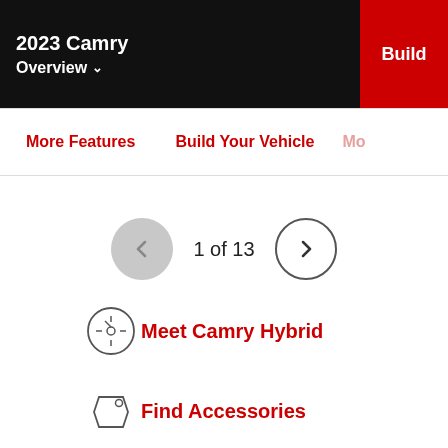2023 Camry Overview
Build
More Features   Build Your Vehicle   Mo
1 of 13
Meet Camry Hybrid
Find Accessories
Download Brochure